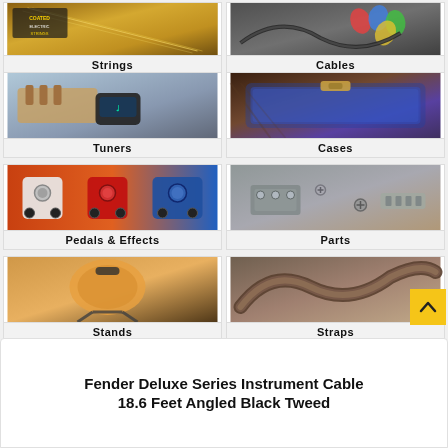[Figure (photo): Strings product category card with guitar strings image]
[Figure (photo): Cables product category card with cable/picks image]
[Figure (photo): Tuners product category card with clip-on tuner on guitar headstock]
[Figure (photo): Cases product category card with guitar case interior blue velvet]
[Figure (photo): Pedals & Effects product category card with guitar effect pedals on orange background]
[Figure (photo): Parts product category card with guitar hardware parts]
[Figure (photo): Stands product category card with guitar on stand]
[Figure (photo): Straps product category card with brown leather guitar strap]
Fender Deluxe Series Instrument Cable 18.6 Feet Angled Black Tweed